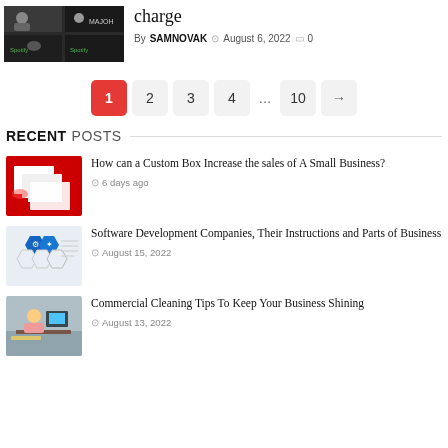charge
By SAMNOVAK  August 6, 2022  0
1  2  3  4  ...  10  →
RECENT POSTS
How can a Custom Box Increase the sales of A Small Business?
6 days ago
Software Development Companies, Their Instructions and Parts of Business
August 15, 2022
Commercial Cleaning Tips To Keep Your Business Shining
August 13, 2022